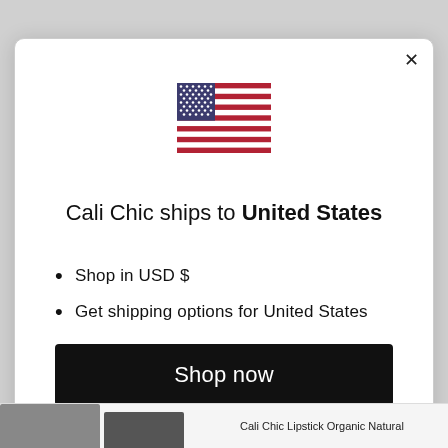[Figure (illustration): US flag emoji/icon centered in modal dialog]
Cali Chic ships to United States
Shop in USD $
Get shipping options for United States
Shop now
Change shipping country
Cali Chic Lipstick Organic Natural